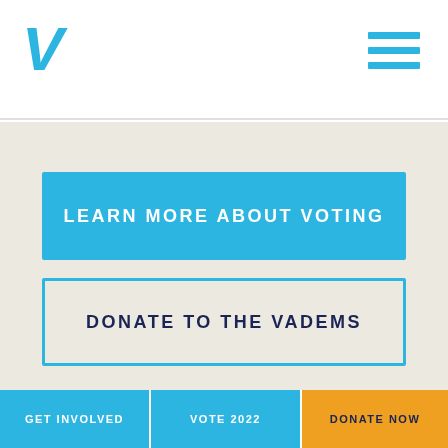[Figure (logo): Blue italic V logo for Virginia Democrats]
[Figure (other): Hamburger menu icon with three blue horizontal lines]
LEARN MORE ABOUT VOTING
DONATE TO THE VADEMS
GET INVOLVED    VOTE 2022    DONATE NOW